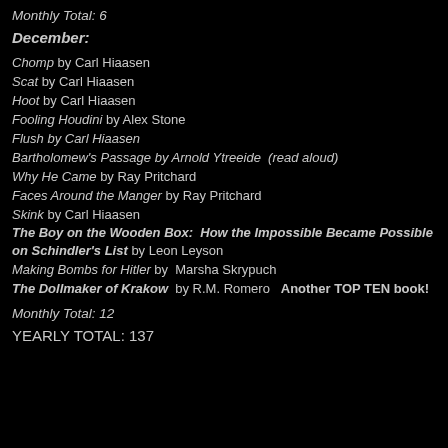Monthly Total:  6
December:
Chomp by Carl Hiaasen
Scat by Carl Hiaasen
Hoot by Carl Hiaasen
Fooling Houdini by Alex Stone
Flush by Carl Hiaasen
Bartholomew's Passage by Arnold Ytreeide  (read aloud)
Why He Came by Ray Pritchard
Faces Around the Manger by Ray Pritchard
Skink by Carl Hiaasen
The Boy on the Wooden Box:  How the Impossible Became Possible on Schindler's List by Leon Leyson
Making Bombs for Hitler by  Marsha Skrypuch
The Dollmaker of Krakow  by R.M. Romero   Another TOP TEN book!
Monthly Total:  12
YEARLY TOTAL:  137